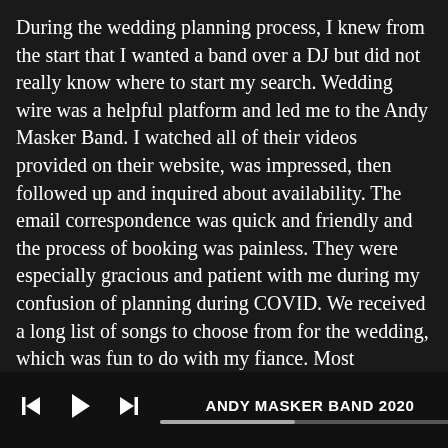During the wedding planning process, I knew from the start that I wanted a band over a DJ but did not really know where to start my search. Wedding wire was a helpful platform and led me to the Andy Masker Band. I watched all of their videos provided on their website, was impressed, then followed up and inquired about availability. The email correspondence was quick and friendly and the process of booking was painless. They were especially gracious and patient with me during my confusion of planning during COVID. We received a long list of songs to choose from for the wedding, which was fun to do with my fiance. Most importantly- their performance was incredible. They sounded fantastic and we've received many praises about the Andy Masker Band from our guests. I think it was the first time many of us have been able to dance and feel like ourselves again since the start of the pandemic, and we are forever grateful for that. Spottie Ottie and 99 Red Balloons were crowd favorites! I highly recommend the Andy Masker Band for your wedding or any event.
ANDY MASKER BAND 2020